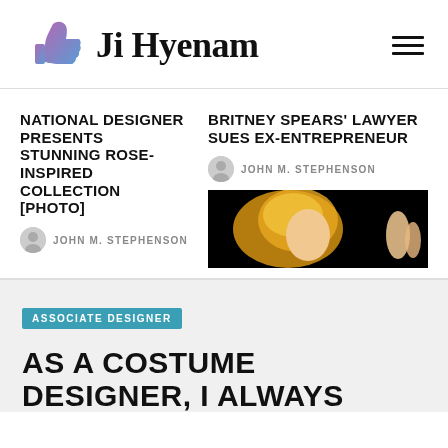Ji Hyenam
NATIONAL DESIGNER PRESENTS STUNNING ROSE-INSPIRED COLLECTION [PHOTO]
JOHN M. STEPHENSON
BRITNEY SPEARS' LAWYER SUES EX-ENTREPRENEUR
JOHN M. STEPHENSON
[Figure (photo): Partial photo of a blonde woman against black background]
ASSOCIATE DESIGNER
AS A COSTUME DESIGNER, I ALWAYS